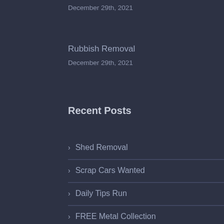December 29th, 2021
Rubbish Removal
December 29th, 2021
Recent Posts
Shed Removal
Scrap Cars Wanted
Daily Tips Run
FREE Metal Collection